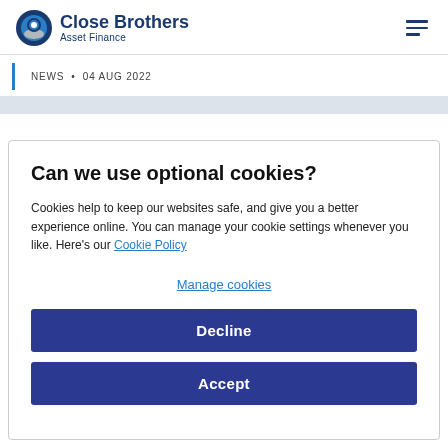Close Brothers Asset Finance
NEWS • 04 AUG 2022
Can we use optional cookies?
Cookies help to keep our websites safe, and give you a better experience online. You can manage your cookie settings whenever you like. Here's our Cookie Policy
Manage cookies
Decline
Accept